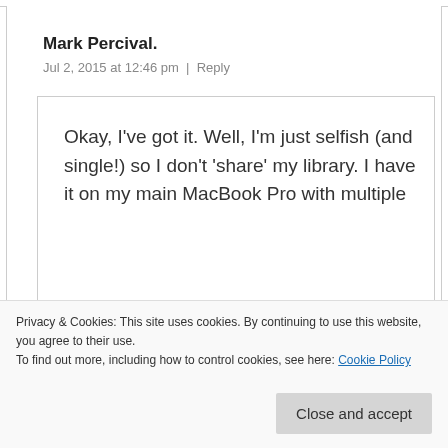Mark Percival.
Jul 2, 2015 at 12:46 pm | Reply
Okay, I've got it. Well, I'm just selfish (and single!) so I don't 'share' my library. I have it on my main MacBook Pro with multiple
Privacy & Cookies: This site uses cookies. By continuing to use this website, you agree to their use.
To find out more, including how to control cookies, see here: Cookie Policy
with my ApIIe TV's in the home, and that's working fine for music.